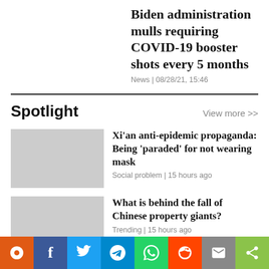Biden administration mulls requiring COVID-19 booster shots every 5 months
News | 08/28/21, 15:46
Spotlight
View more >>
Xi'an anti-epidemic propaganda: Being 'paraded' for not wearing mask
Social problem | 15 hours ago
What is behind the fall of Chinese property giants?
Trending | 15 hours ago